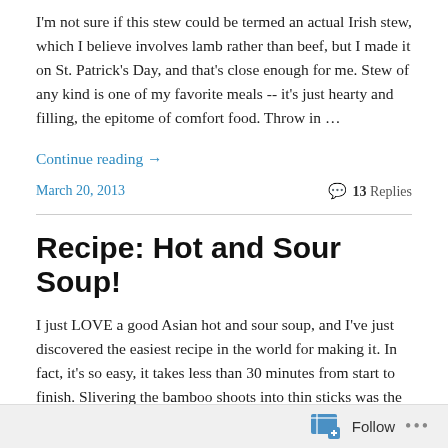I'm not sure if this stew could be termed an actual Irish stew, which I believe involves lamb rather than beef, but I made it on St. Patrick's Day, and that's close enough for me. Stew of any kind is one of my favorite meals -- it's just hearty and filling, the epitome of comfort food. Throw in …
Continue reading →
March 20, 2013   💬 13 Replies
Recipe: Hot and Sour Soup!
I just LOVE a good Asian hot and sour soup, and I've just discovered the easiest recipe in the world for making it. In fact, it's so easy, it takes less than 30 minutes from start to finish. Slivering the bamboo shoots into thin sticks was the hardest part of the process while it lasted…
Follow ...